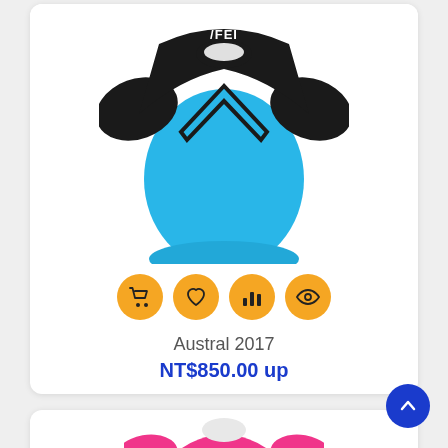[Figure (photo): Blue and black sports jersey with chevron design and FEI logo, shown on white card background]
[Figure (infographic): Four orange circular action buttons: shopping cart, heart/wishlist, bar chart/compare, eye/preview]
Austral 2017
NT$850.00 up
[Figure (photo): Pink sports jersey with FEI logo, partially visible at bottom of page]
[Figure (other): Blue circular scroll-to-top button with upward chevron arrow]